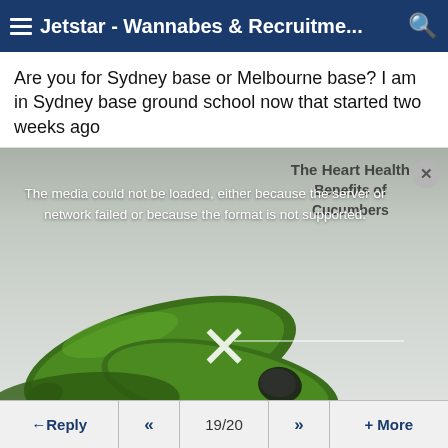Jetstar - Wannabes & Recruitme...
Are you for Sydney base or Melbourne base? I am in Sydney base ground school now that started two weeks ago
[Figure (screenshot): Video media player overlay showing a failed media load error message. Background shows cucumbers/vegetables image. Error text reads: 'The media could not be loaded, either because the server or network failed or because the format is not supported.' Overlaid text reads 'The Heart Health Benefits of Cucumbers'. A large X close button is visible, and a small circular close button in upper right.]
Reply  <<  19/20  >>  + More